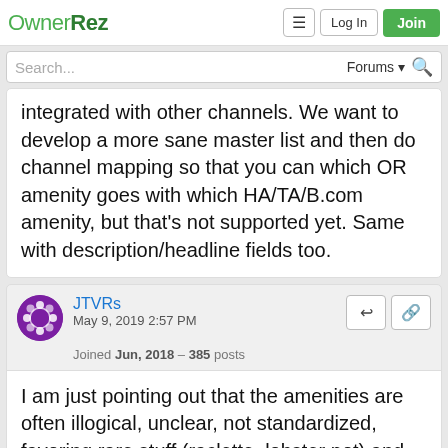OwnerRez — Log In — Join
integrated with other channels. We want to develop a more sane master list and then do channel mapping so that you can which OR amenity goes with which HA/TA/B.com amenity, but that's not supported yet. Same with description/headline fields too.
JTVRs
May 9, 2019 2:57 PM
Joined Jun, 2018 – 385 posts
I am just pointing out that the amenities are often illogical, unclear, not standardized, favoring rare stuff (raclette, lobster pot) and leaving out